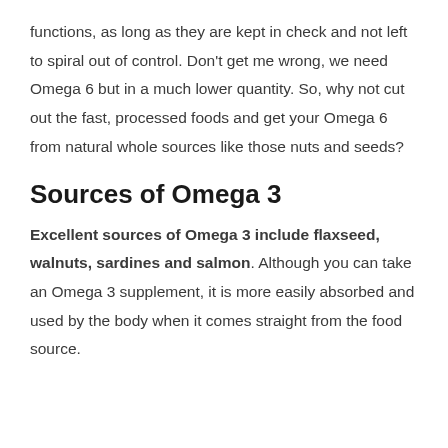functions, as long as they are kept in check and not left to spiral out of control. Don't get me wrong, we need Omega 6 but in a much lower quantity. So, why not cut out the fast, processed foods and get your Omega 6 from natural whole sources like those nuts and seeds?
Sources of Omega 3
Excellent sources of Omega 3 include flaxseed, walnuts, sardines and salmon. Although you can take an Omega 3 supplement, it is more easily absorbed and used by the body when it comes straight from the food source.